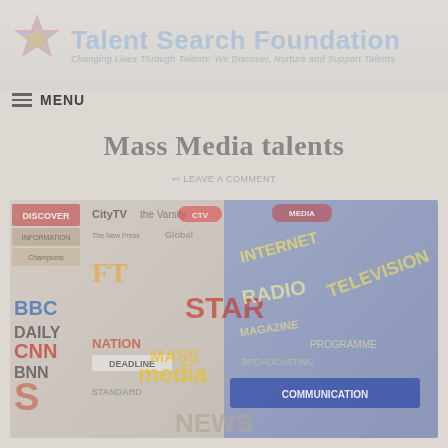[Figure (logo): Talent Search Foundation logo with rainbow star and blue text header. Subtitle: Changing Lives Through Talents: We Discover, Nurture and Support Talents]
MENU
Mass Media talents
LEAVE A COMMENT
[Figure (photo): Collage image showing various mass media logos and words including BBC, CNN, BNN, CityTV, Global, STAR, CTV, DAILY, NATION, media-related words such as INTERNET, TELEVISION, RADIO, COMMUNICATION, NEWS, MASS MEDIA]